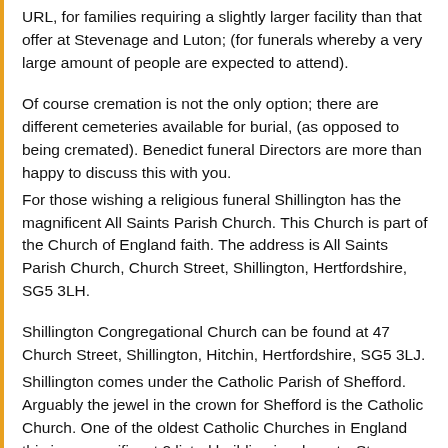URL, for families requiring a slightly larger facility than that offer at Stevenage and Luton; (for funerals whereby a very large amount of people are expected to attend).
Of course cremation is not the only option; there are different cemeteries available for burial, (as opposed to being cremated). Benedict funeral Directors are more than happy to discuss this with you.
For those wishing a religious funeral Shillington has the magnificent All Saints Parish Church. This Church is part of the Church of England faith. The address is All Saints Parish Church, Church Street, Shillington, Hertfordshire, SG5 3LH.
Shillington Congregational Church can be found at 47 Church Street, Shillington, Hitchin, Hertfordshire, SG5 3LJ.
Shillington comes under the Catholic Parish of Shefford. Arguably the jewel in the crown for Shefford is the Catholic Church. One of the oldest Catholic Churches in England this is a magnificent 2 listed building is a beauty. St. Francis of Assisi Catholic Ch... on High Street, Shefford, the current priest being Canon Bennie